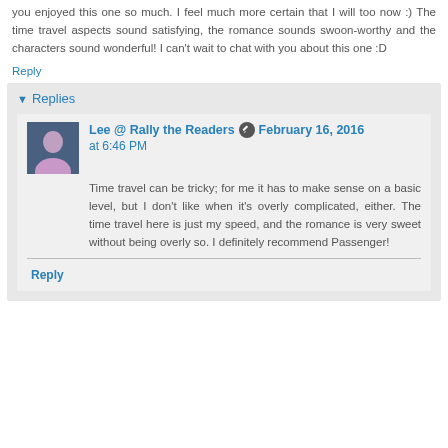you enjoyed this one so much. I feel much more certain that I will too now :) The time travel aspects sound satisfying, the romance sounds swoon-worthy and the characters sound wonderful! I can't wait to chat with you about this one :D
Reply
Replies
Lee @ Rally the Readers  February 16, 2016 at 6:46 PM
Time travel can be tricky; for me it has to make sense on a basic level, but I don't like when it's overly complicated, either. The time travel here is just my speed, and the romance is very sweet without being overly so. I definitely recommend Passenger!
Reply